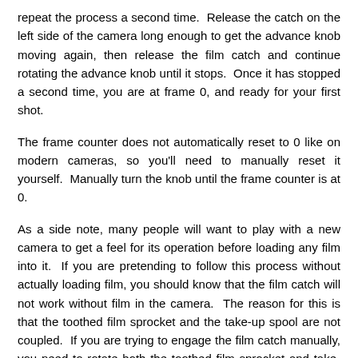repeat the process a second time.  Release the catch on the left side of the camera long enough to get the advance knob moving again, then release the film catch and continue rotating the advance knob until it stops.  Once it has stopped a second time, you are at frame 0, and ready for your first shot.
The frame counter does not automatically reset to 0 like on modern cameras, so you'll need to manually reset it yourself.  Manually turn the knob until the frame counter is at 0.
As a side note, many people will want to play with a new camera to get a feel for its operation before loading any film into it.  If you are pretending to follow this process without actually loading film, you should know that the film catch will not work without film in the camera.  The reason for this is that the toothed film sprocket and the take-up spool are not coupled.  If you are trying to engage the film catch manually, you need to rotate both the toothed film sprocket and take-up spool with your fingers to get it to engage.  Also, keep in mind that the film catch also will not work in the "R" or "rewind" position, only in the "S" position.